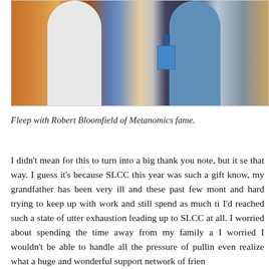[Figure (photo): Two people standing together indoors at what appears to be a conference or event. The person on the right is wearing a blue shirt and has a conference badge/lanyard. Colorful carpet and décor visible in the background.]
Fleep with Robert Bloomfield of Metanomics fame.
I didn't mean for this to turn into a big thank you note, but it se that way. I guess it's because SLCC this year was such a gift know, my grandfather has been very ill and these past few mont and hard trying to keep up with work and still spend as much ti I'd reached such a state of utter exhaustion leading up to SLCC at all. I worried about spending the time away from my family a I worried I wouldn't be able to handle all the pressure of pullin even realize what a huge and wonderful support network of frien